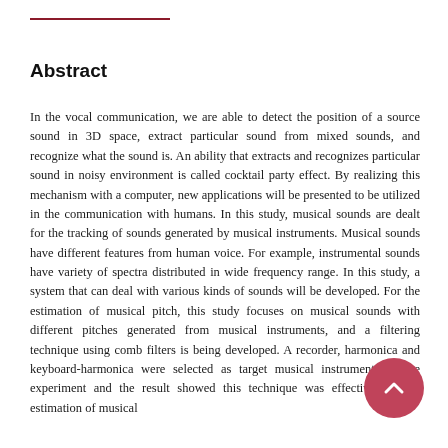Abstract
In the vocal communication, we are able to detect the position of a source sound in 3D space, extract particular sound from mixed sounds, and recognize what the sound is. An ability that extracts and recognizes particular sound in noisy environment is called cocktail party effect. By realizing this mechanism with a computer, new applications will be presented to be utilized in the communication with humans. In this study, musical sounds are dealt for the tracking of sounds generated by musical instruments. Musical sounds have different features from human voice. For example, instrumental sounds have variety of spectra distributed in wide frequency range. In this study, a system that can deal with various kinds of sounds will be developed. For the estimation of musical pitch, this study focuses on musical sounds with different pitches generated from musical instruments, and a filtering technique using comb filters is being developed. A recorder, harmonica and keyboard-harmonica were selected as target musical instruments in the experiment and the result showed this technique was effective for the estimation of musical